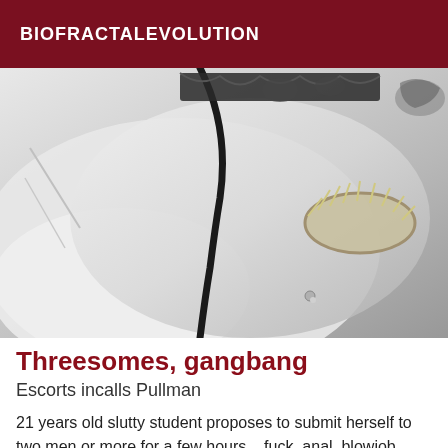BIOFRACTALEVOLUTION
[Figure (photo): Grayscale close-up photo of a person wearing lace lingerie and a decorative bracelet, lying on white fabric]
Threesomes, gangbang
Escorts incalls Pullman
21 years old slutty student proposes to submit herself to two men or more for a few hours... fuck, anal, blowjob ...